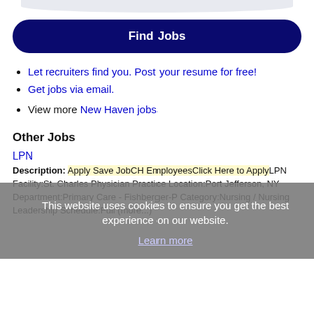[Figure (screenshot): Top arc/bar element, light blue-grey rounded shape at top of page]
Find Jobs
Let recruiters find you. Post your resume for free!
Get jobs via email.
View more New Haven jobs
Other Jobs
LPN
Description: Apply Save JobCH EmployeesClick Here to ApplyLPN Facility:St. Charles Physician Practice Location:Port Jefferson, NY Department:Primary Care - Fishberger-P Category:Nursing / Nursing Leadership Schedule:Full (more...)
This website uses cookies to ensure you get the best experience on our website. Learn more